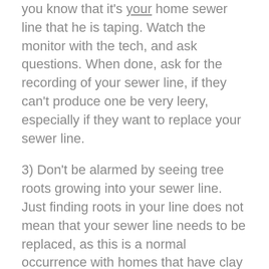you know that it's your home sewer line that he is taping. Watch the monitor with the tech, and ask questions. When done, ask for the recording of your sewer line, if they can't produce one be very leery, especially if they want to replace your sewer line.
3) Don't be alarmed by seeing tree roots growing into your sewer line. Just finding roots in your line does not mean that your sewer line needs to be replaced, as this is a normal occurrence with homes that have clay tile pipes. All you may need is to clean the roots out of the sewer line at least once a year.
4) Some sewer lines will have low spots, which means it has a belly and can cause a backup. Again remember that the camera rides on the bottom of the sewer line and the image shown is from the bottom looking up.